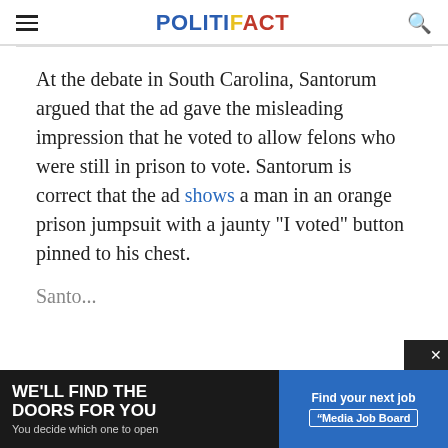POLITIFACT
At the debate in South Carolina, Santorum argued that the ad gave the misleading impression that he voted to allow felons who were still in prison to vote. Santorum is correct that the ad shows a man in an orange prison jumpsuit with a jaunty "I voted" button pinned to his chest.
Santo...
[Figure (screenshot): Advertisement banner: left dark panel 'WE'LL FIND THE DOORS FOR YOU - You decide which one to open', right blue panel 'Find your next job - Media Job Board']